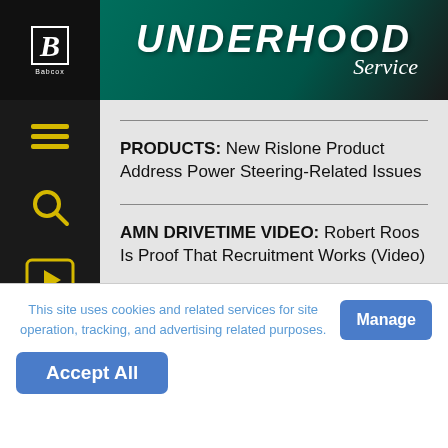UNDERHOOD Service
PRODUCTS: New Rislone Product Address Power Steering-Related Issues
AMN DRIVETIME VIDEO: Robert Roos Is Proof That Recruitment Works (Video)
This site uses cookies and related services for site operation, tracking, and advertising related purposes.
Manage
Accept All